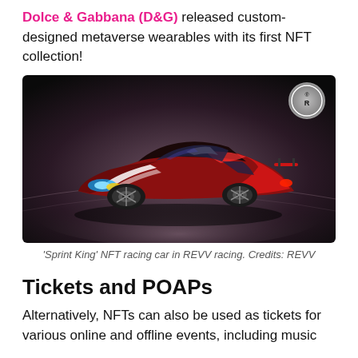Dolce & Gabbana (D&G) released custom-designed metaverse wearables with its first NFT collection!
[Figure (photo): A stylized red and black NFT racing car ('Sprint King') shown in a dark reflective studio environment with a REVV racing logo badge in the top right corner.]
'Sprint King' NFT racing car in REVV racing. Credits: REVV
Tickets and POAPs
Alternatively, NFTs can also be used as tickets for various online and offline events, including music